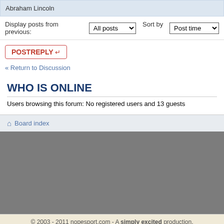Abraham Lincoln
Display posts from previous: All posts ▼  Sort by  Post time ▼
POSTREPLY ↵
« Return to Discussion
WHO IS ONLINE
Users browsing this forum: No registered users and 13 guests
Board index
© 2003 - 2011 nopesport.com - A simply excited production.